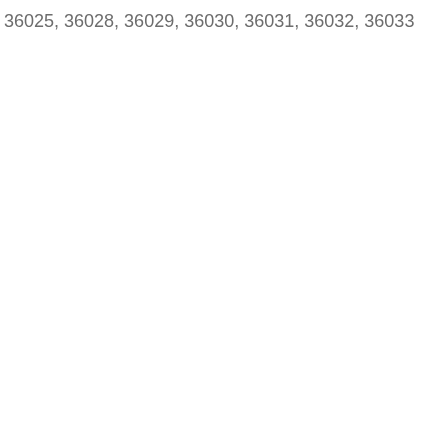36025, 36028, 36029, 36030, 36031, 36032, 36033